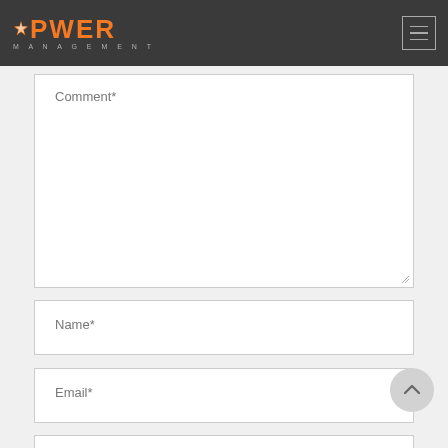POWER MANAGEMENT
Comment*
Name*
Email*